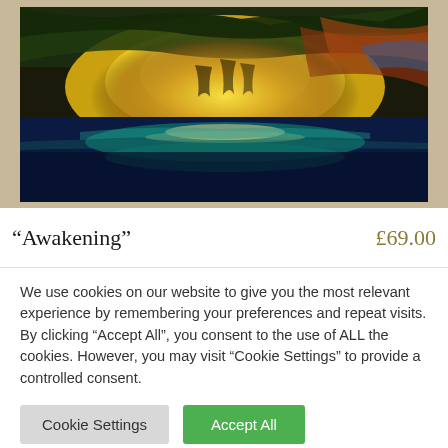[Figure (photo): A vibrant abstract painting in a white frame showing a dramatic seascape. The upper half features swirling brushstrokes in yellow, orange, green, and dark tones suggesting a turbulent sky. The lower half shows deep blue water with teal and white reflections of light on the surface.]
“Awakening” £69.00
We use cookies on our website to give you the most relevant experience by remembering your preferences and repeat visits. By clicking “Accept All”, you consent to the use of ALL the cookies. However, you may visit “Cookie Settings” to provide a controlled consent.